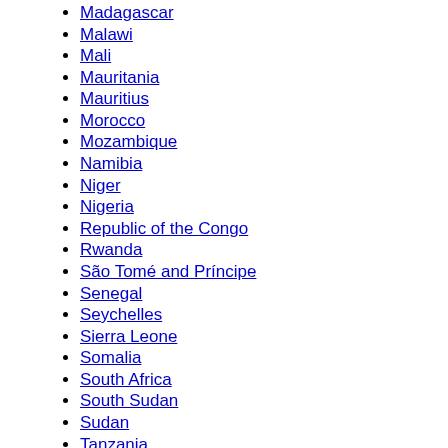Madagascar
Malawi
Mali
Mauritania
Mauritius
Morocco
Mozambique
Namibia
Niger
Nigeria
Republic of the Congo
Rwanda
São Tomé and Príncipe
Senegal
Seychelles
Sierra Leone
Somalia
South Africa
South Sudan
Sudan
Tanzania
Togo
Tunisia
Uganda
Zambia